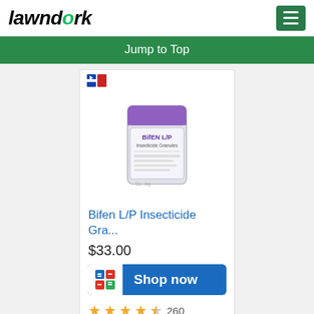lawndork
Jump to Top
[Figure (photo): Product image of Bifen L/P Insecticide Granules bag]
Bifen L/P Insecticide Gra...
$33.00
Shop now
★★★★½ 260
Read the Reviews
CertainLabel™ for Bifen L/P & Fleas
Spot Treatment
No spot treatment rates listed. Please, review